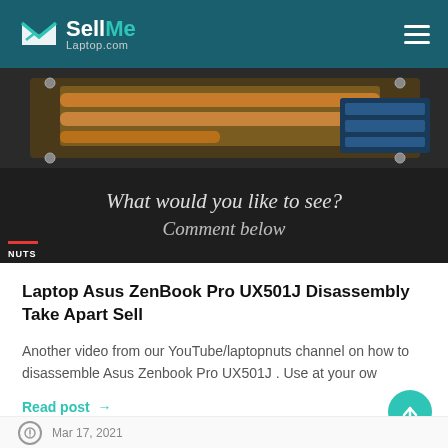SellMe Laptop.com
[Figure (photo): Laptop disassembly photo showing internal components with copper heat pipes and circuit boards, overlaid with text 'What would you like to see? Comment below' and a laptopnuts channel watermark]
Laptop Asus ZenBook Pro UX501J Disassembly Take Apart Sell
Another video from our YouTube/laptopnuts channel on how to disassemble Asus Zenbook Pro UX501J . Use at your ow
Read post →
Mar 17, 2021